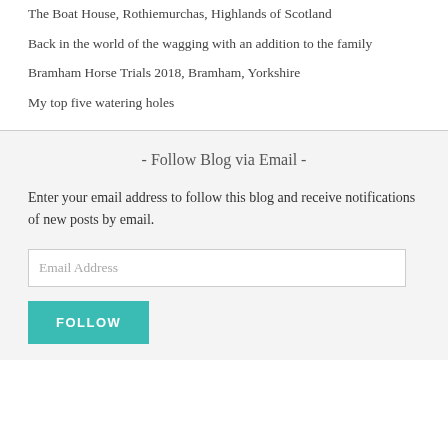The Boat House, Rothiemurchas, Highlands of Scotland
Back in the world of the wagging with an addition to the family
Bramham Horse Trials 2018, Bramham, Yorkshire
My top five watering holes
- Follow Blog via Email -
Enter your email address to follow this blog and receive notifications of new posts by email.